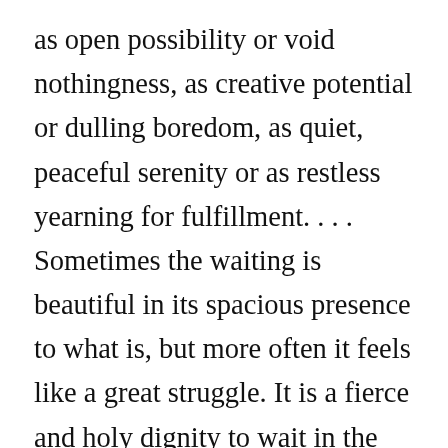as open possibility or void nothingness, as creative potential or dulling boredom, as quiet, peaceful serenity or as restless yearning for fulfillment. . . . Sometimes the waiting is beautiful in its spacious presence to what is, but more often it feels like a great struggle. It is a fierce and holy dignity to wait in the midst of things needing to be done and nothing but emptiness inside. It is even sometimes a kind of spiritual warfare, filled with temptations to do something, anything, to make a difference in the world outside and